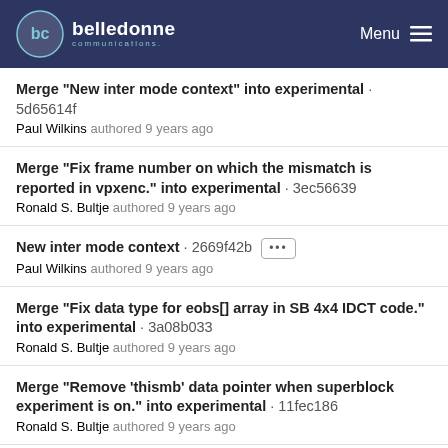belledonne communications - Menu
Merge "New inter mode context" into experimental · 5d65614f
Paul Wilkins authored 9 years ago
Merge "Fix frame number on which the mismatch is reported in vpxenc." into experimental · 3ec56639
Ronald S. Bultje authored 9 years ago
New inter mode context · 2669f42b [...]
Paul Wilkins authored 9 years ago
Merge "Fix data type for eobs[] array in SB 4x4 IDCT code." into experimental · 3a08b033
Ronald S. Bultje authored 9 years ago
Merge "Remove 'thismb' data pointer when superblock experiment is on." into experimental · 11fec186
Ronald S. Bultje authored 9 years ago